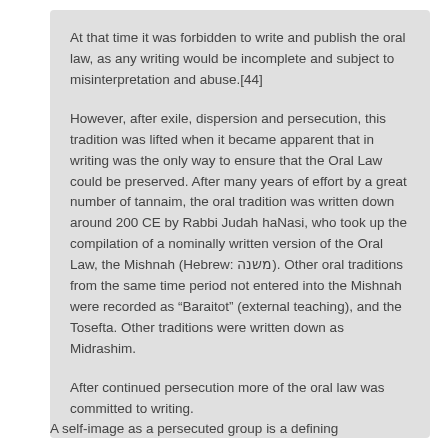At that time it was forbidden to write and publish the oral law, as any writing would be incomplete and subject to misinterpretation and abuse.[44]
However, after exile, dispersion and persecution, this tradition was lifted when it became apparent that in writing was the only way to ensure that the Oral Law could be preserved. After many years of effort by a great number of tannaim, the oral tradition was written down around 200 CE by Rabbi Judah haNasi, who took up the compilation of a nominally written version of the Oral Law, the Mishnah (Hebrew: משנה). Other oral traditions from the same time period not entered into the Mishnah were recorded as "Baraitot" (external teaching), and the Tosefta. Other traditions were written down as Midrashim.
After continued persecution more of the oral law was committed to writing.
A self-image as a persecuted group is a defining